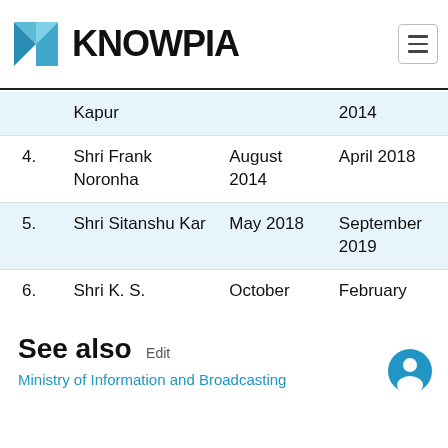KNOWPIA
| # | Name | From | To |
| --- | --- | --- | --- |
| 3. | Kapur |  | 2014 |
| 4. | Shri Frank Noronha | August 2014 | April 2018 |
| 5. | Shri Sitanshu Kar | May 2018 | September 2019 |
| 6. | Shri K. S. Dhatwalia | October 2019 | February 2021 |
| 7. | Shri Jaideep Bhatnagar | March 2021 | Present |
See also
Ministry of Information and Broadcasting